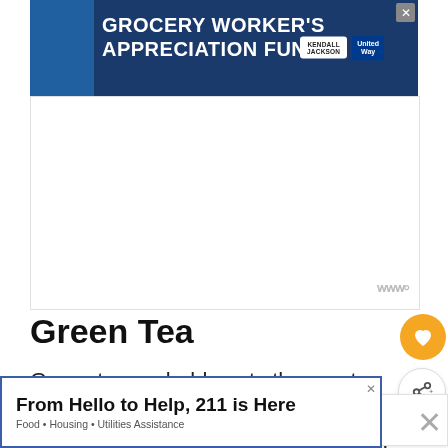[Figure (infographic): Grocery Worker's Appreciation Fund advertisement banner in dark blue with logos for Kendall Jackson and United Way]
[Figure (other): White advertisement space placeholder with triple-w logo in bottom right]
Green Tea
Green tea probably gets the most press regarding its health benefits because of its antioxidant properties. Some studies found associations between a reduced risk of cancer with consumption of green tea.
[Figure (infographic): What's Next panel showing thumbnail and text 'Is Coffee Good for...']
[Figure (infographic): Bottom advertisement: 'From Hello to Help, 211 is Here' with subtitle 'Food · Housing · Utilities Assistance']